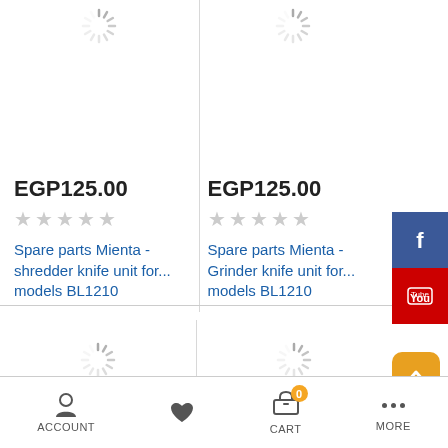[Figure (screenshot): Loading spinner icon top left product]
[Figure (screenshot): Loading spinner icon top right product]
EGP125.00
EGP125.00
★★★★★ (empty stars)
★★★★★ (empty stars)
Spare parts Mienta - shredder knife unit for... models BL1210
Spare parts Mienta - Grinder knife unit for... models BL1210
[Figure (logo): Facebook share button (blue)]
[Figure (logo): YouTube share button (red)]
[Figure (screenshot): Loading spinner icon bottom left product]
[Figure (screenshot): Loading spinner icon bottom right product]
[Figure (screenshot): Scroll to top button (gold)]
ACCOUNT | (heart) | CART 0 | MORE